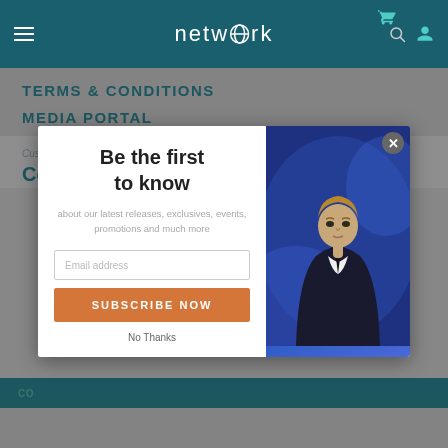[Figure (screenshot): Network website navigation bar with hamburger menu, 'network' logo with globe icon, search icon, cart icon, and user icon on dark teal background]
TERMS & CONDITIONS
MEDIA PORTAL
Customer Order and Product Related Enquiries
Co...
[Figure (screenshot): Email newsletter signup modal popup with 'Be the first to know' heading, subtext about latest releases, exclusives, events, promotions and much more, email address input field, SUBSCRIBE NOW orange button, No Thanks link, and a photo of a man in a suit against blue background on the right side. A close X button is in the top right corner.]
CO...
No Thanks